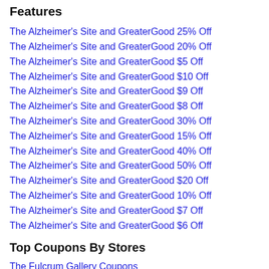Features
The Alzheimer's Site and GreaterGood 25% Off
The Alzheimer's Site and GreaterGood 20% Off
The Alzheimer's Site and GreaterGood $5 Off
The Alzheimer's Site and GreaterGood $10 Off
The Alzheimer's Site and GreaterGood $9 Off
The Alzheimer's Site and GreaterGood $8 Off
The Alzheimer's Site and GreaterGood 30% Off
The Alzheimer's Site and GreaterGood 15% Off
The Alzheimer's Site and GreaterGood 40% Off
The Alzheimer's Site and GreaterGood 50% Off
The Alzheimer's Site and GreaterGood $20 Off
The Alzheimer's Site and GreaterGood 10% Off
The Alzheimer's Site and GreaterGood $7 Off
The Alzheimer's Site and GreaterGood $6 Off
Top Coupons By Stores
The Fulcrum Gallery Coupons
Black Opal Coupons